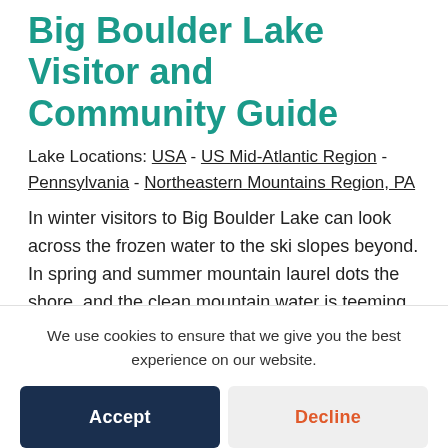Big Boulder Lake Visitor and Community Guide
Lake Locations: USA - US Mid-Atlantic Region - Pennsylvania - Northeastern Mountains Region, PA
In winter visitors to Big Boulder Lake can look across the frozen water to the ski slopes beyond. In spring and summer mountain laurel dots the shore, and the clean mountain water is teeming with fish. No matter what the season,
We use cookies to ensure that we give you the best experience on our website.